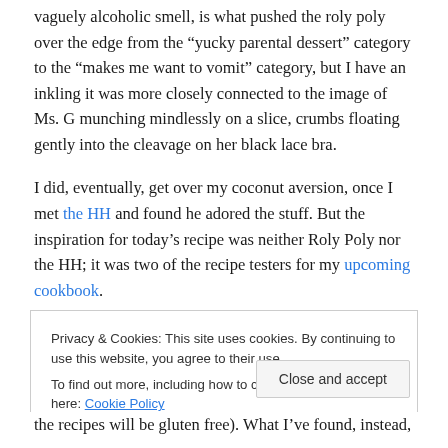vaguely alcoholic smell, is what pushed the roly poly over the edge from the “yucky parental dessert” category to the “make me want to vomit” category, but I have an inkling it was more closely connected to the image of Ms. G munching mindlessly on a slice, crumbs floating gently into the cleavage on her black lace bra.
I did, eventually, get over my coconut aversion, once I met the HH and found he adored the stuff. But the inspiration for today’s recipe was neither Roly Poly nor the HH; it was two of the recipe testers for my upcoming cookbook.
Privacy & Cookies: This site uses cookies. By continuing to use this website, you agree to their use. To find out more, including how to control cookies, see here: Cookie Policy
Close and accept
the recipes will be gluten free). What I’ve found, instead,